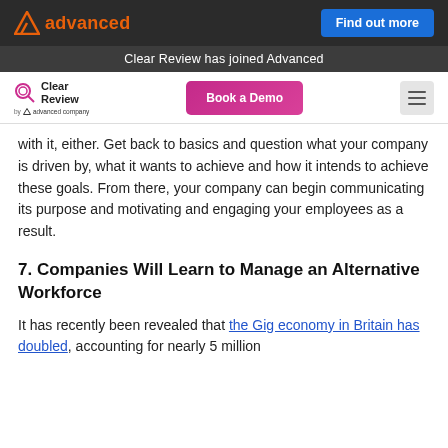Advanced | Clear Review has joined Advanced | Find out more
Clear Review | Book a Demo
with it, either. Get back to basics and question what your company is driven by, what it wants to achieve and how it intends to achieve these goals. From there, your company can begin communicating its purpose and motivating and engaging your employees as a result.
7. Companies Will Learn to Manage an Alternative Workforce
It has recently been revealed that the Gig economy in Britain has doubled, accounting for nearly 5 million